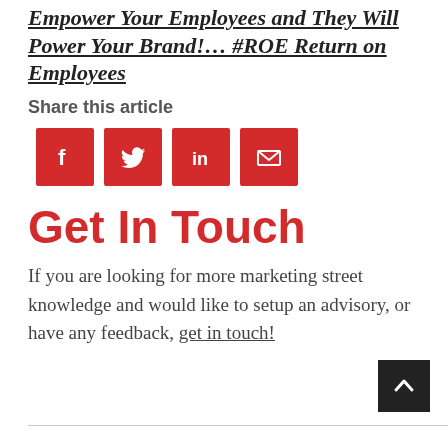Empower Your Employees and They Will Power Your Brand!… #ROE Return on Employees
Share this article
[Figure (infographic): Four red social sharing icon buttons: Facebook (f), Twitter (bird), LinkedIn (in), Email (envelope)]
Get In Touch
If you are looking for more marketing street knowledge and would like to setup an advisory, or have any feedback, get in touch!